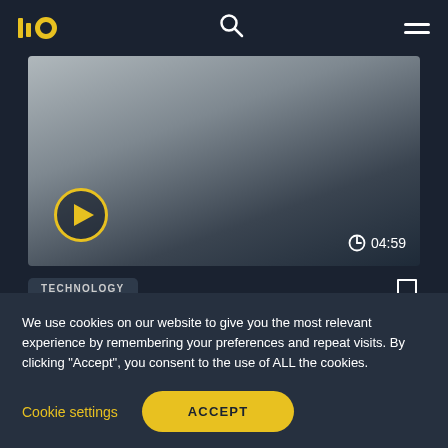[Figure (screenshot): Website header with logo (two vertical bars and circle forming '||o' in yellow), search icon, and hamburger menu on dark background]
[Figure (screenshot): Video thumbnail with gradient gray-to-dark background, yellow-bordered play button, and duration '04:59' with clock icon]
TECHNOLOGY
Is Proof of Stake going to replace
We use cookies on our website to give you the most relevant experience by remembering your preferences and repeat visits. By clicking “Accept”, you consent to the use of ALL the cookies.
Cookie settings
ACCEPT